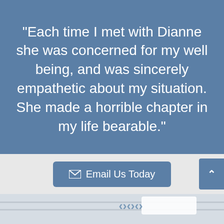"Each time I met with Dianne she was concerned for my well being, and was sincerely empathetic about my situation. She made a horrible chapter in my life bearable."
[Figure (screenshot): Email Us Today button with envelope icon on a light gray background, and a partial scroll-to-top arrow button on the right edge]
[Figure (map): Partial street map showing roads and a white info card]